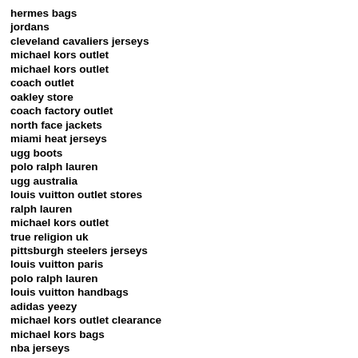hermes bags
jordans
cleveland cavaliers jerseys
michael kors outlet
michael kors outlet
coach outlet
oakley store
coach factory outlet
north face jackets
miami heat jerseys
ugg boots
polo ralph lauren
ugg australia
louis vuitton outlet stores
ralph lauren
michael kors outlet
true religion uk
pittsburgh steelers jerseys
louis vuitton paris
polo ralph lauren
louis vuitton handbags
adidas yeezy
michael kors outlet clearance
michael kors bags
nba jerseys
adidas shoes
san antonio spurs jerseys